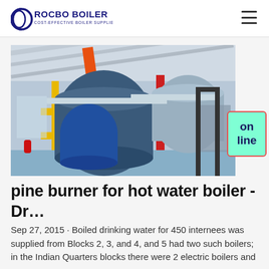ROCBO BOILER - COST-EFFECTIVE BOILER SUPPLIER
[Figure (photo): Industrial boiler room with large blue cylindrical boilers, yellow and orange pipes, blue floor, and metal framework visible in the background.]
pine burner for hot water boiler - Dr…
Sep 27, 2015 · Boiled drinking water for 450 internees was supplied from Blocks 2, 3, and 4, and 5 had two such boilers; in the Indian Quarters blocks there were 2 electric boilers and a grass….